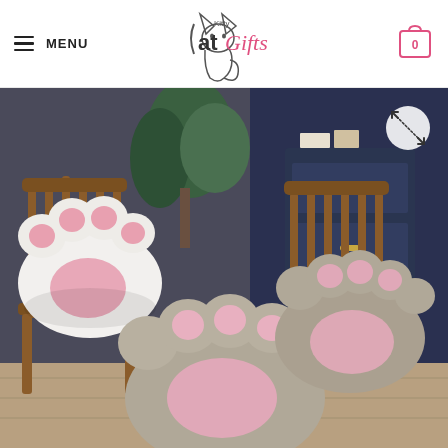MENU | Kitty at Gifts | 0
[Figure (photo): Two cat paw shaped cushions/pillows on wooden chairs in a room setting. One cushion is white with pink paw pads on a wooden chair on the left, and two gray cushions with pink paw pads are shown on the right side. Background shows a dark blue dresser and green plant.]